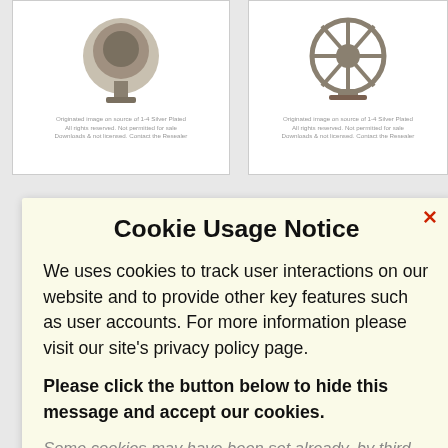[Figure (screenshot): Background website with two product images (antique/decorative items) in white panel cards on a grey background]
Cookie Usage Notice
We uses cookies to track user interactions on our website and to provide other key features such as user accounts. For more information please visit our site's privacy policy page.
Please click the button below to hide this message and accept our cookies.
Some cookies may have been set already, by third-parties, based on your web browser's privacy settings. If you continue to use the site, we'll assume you're happy to accept cookies.
Accept Cookies ✓